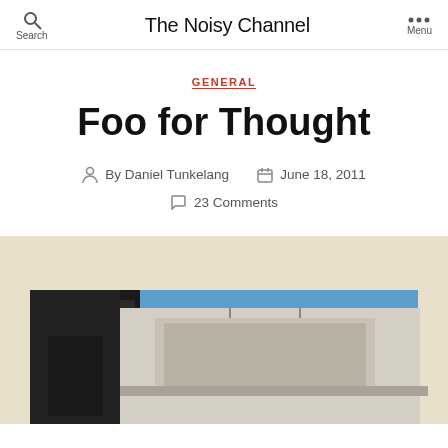Search | The Noisy Channel | Menu
GENERAL
Foo for Thought
By Daniel Tunkelang  June 18, 2011
23 Comments
[Figure (photo): Photograph of a building exterior with beige/cream background and blue sky, showing architectural details of a modern structure with a box-like element]